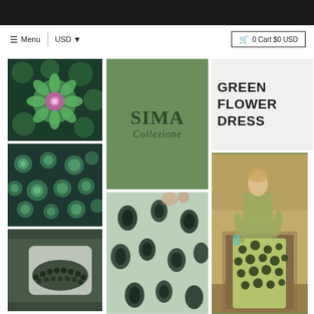☰ Menu  |  USD ▾    🛒 0 Cart $0 USD
[Figure (photo): Green lotus/zinnia flower with pink-purple center surrounded by green circular floral elements on dark green background]
[Figure (photo): Dark green/teal background with circular green floral pattern dots]
[Figure (photo): Close-up detail of dark beaded or embellished green fabric on white surface]
[Figure (logo): SIMA Collezione brand logo on sage/olive green square background]
[Figure (photo): Close-up of mint/sage green fabric with dark green floral appliqué pattern]
GREEN FLOWER DRESS
[Figure (photo): Fashion model wearing green polka dot wide-leg trousers with light green top in elegant interior setting]